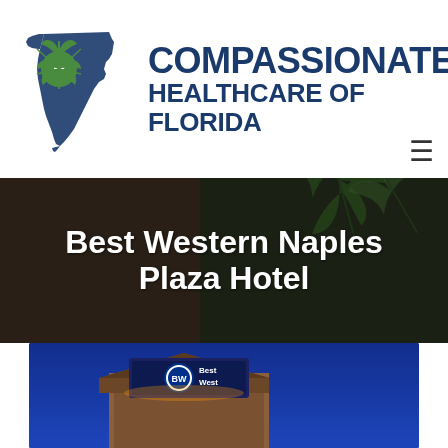[Figure (logo): Compassionate Healthcare of Florida logo: Florida state silhouette in dark blue with a green cannabis leaf and plus sign overlay, beside bold dark blue text 'COMPASSIONATE HEALTHCARE OF FLORIDA']
[Figure (photo): Background photo of cannabis leaves in dark/blurred setting with overlay text 'Best Western Naples Plaza Hotel']
Best Western Naples Plaza Hotel
[Figure (photo): Partial photo of Best Western hotel sign illuminated at night against a blue sky]